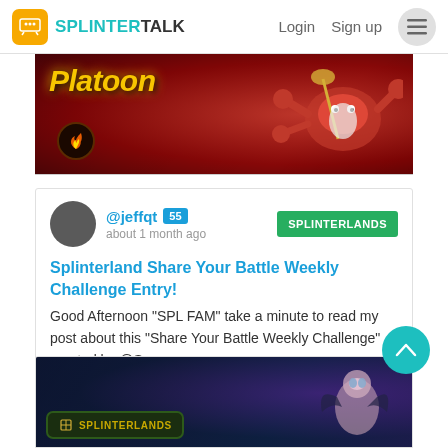SPLINTER TALK  Login  Sign up
[Figure (illustration): Banner image with dark red/crimson background showing fantasy game characters including crab-like creature, text 'Platoon' in yellow italic, and fire icon badge]
@jeffqt 55  about 1 month ago  SPLINTERLANDS
Splinterland Share Your Battle Weekly Challenge Entry!
Good Afternoon "SPL FAM" take a minute to read my post about this "Share Your Battle Weekly Challenge" created by @Sp
♥ 30  ♥ 3  ☺ 2  •••  14.708 SPT
[Figure (illustration): Partial banner of second post card showing dark blue/purple fantasy game background with Splinterlands badge logo and character art]